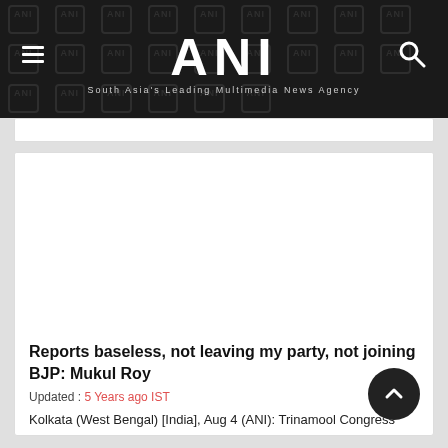ANI — South Asia's Leading Multimedia News Agency
Reports baseless, not leaving my party, not joining BJP: Mukul Roy
Updated : 5 Years ago IST
Kolkata (West Bengal) [India], Aug 4 (ANI): Trinamool Congress Party (TMC) leader and former Railways minister Mukul Roy has said that neither he is leaving TMC, nor joining Bharatiya Janata Party (BJP).
Read More